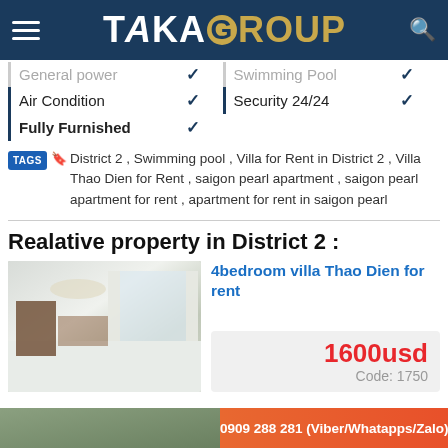TAKA GROUP
| General power | ✓ | Swimming Pool | ✓ |
| Air Condition | ✓ | Security 24/24 | ✓ |
| Fully Furnished | ✓ |  |  |
TAGS  District 2 , Swimming pool , Villa for Rent in District 2 , Villa Thao Dien for Rent , saigon pearl apartment , saigon pearl apartment for rent , apartment for rent in saigon pearl
Realative property in District 2 :
[Figure (photo): Interior photo of a villa with white marble floors, wooden furniture, chandelier, and large windows with curtains]
4bedroom villa Thao Dien for rent
1600usd
Code: 1750
0909 288 281 (Viber/Whatapps/Zalo)